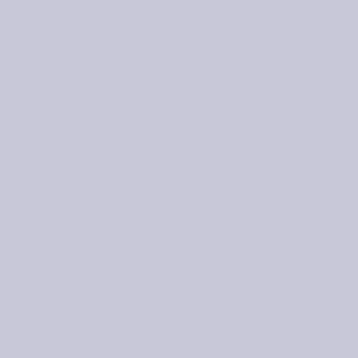[Figure (photo): Person with colorful makeup including yellow eyeshadow, floral nose stud, and pink hair wrap, posing with hand near face. Orange background visible.]
brows look fucking awful wtf, you can see every hair and its making me want to vom. Also why would you put on that much makeup just to cry it off at your therapists?
Anonymous 1 year ago No. 164390  >>164393
It's been at least a year since I've viewed any of her content, and I just watched the neurodivergent video. Why is she putting on such a different voice than she used to have???????
Anonymous 1 year ago No. 164393
>>164390
welcome back, she does it all the time. constantly flip flopping between voices.
Anonymous 1 year ago No. 164457